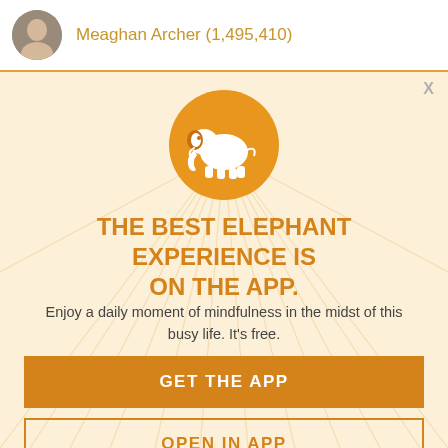Meaghan Archer (1,495,410)
X
[Figure (illustration): Orange circle with white elephant silhouette icon]
THE BEST ELEPHANT EXPERIENCE IS ON THE APP.
Enjoy a daily moment of mindfulness in the midst of this busy life. It's free.
GET THE APP
OPEN IN APP